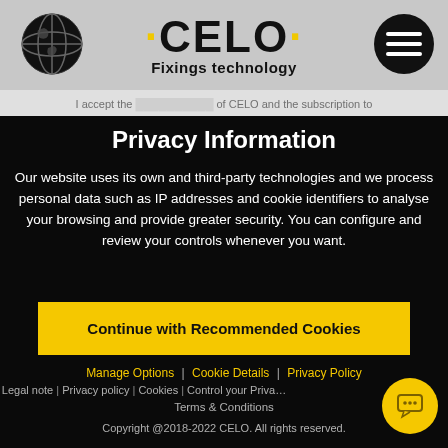[Figure (logo): CELO Fixings technology logo with globe icon and hamburger menu icon on grey header background]
I accept the [privacy policy] of CELO and the subscription to
Privacy Information
Our website uses its own and third-party technologies and we process personal data such as IP addresses and cookie identifiers to analyse your browsing and provide greater security. You can configure and review your controls whenever you want.
Continue with Recommended Cookies
Manage Options  |  Cookie Details  |  Privacy Policy
Legal note | Privacy policy | Cookies | Control your Privacy
Terms & Conditions
Copyright @2018-2022 CELO. All rights reserved.